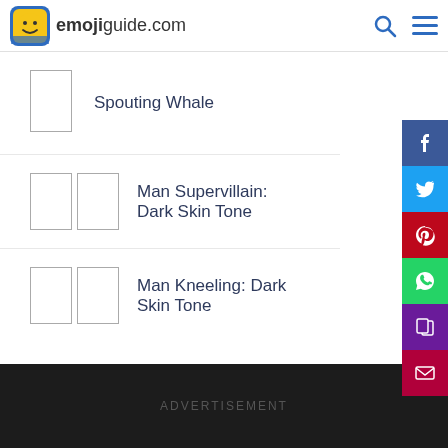emojiguide.com
Spouting Whale
Man Supervillain: Dark Skin Tone
Man Kneeling: Dark Skin Tone